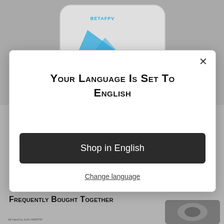[Figure (photo): Background showing a BetaFPV product box and other electronic components on a gray surface]
Your language is set to English
Shop in English
Change language
Frequently Bought Together